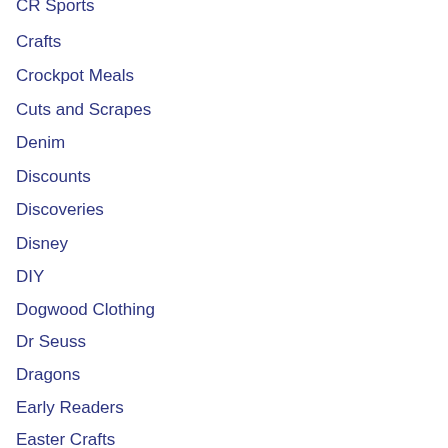CR Sports
Crafts
Crockpot Meals
Cuts and Scrapes
Denim
Discounts
Discoveries
Disney
DIY
Dogwood Clothing
Dr Seuss
Dragons
Early Readers
Easter Crafts
Easter Dresswear